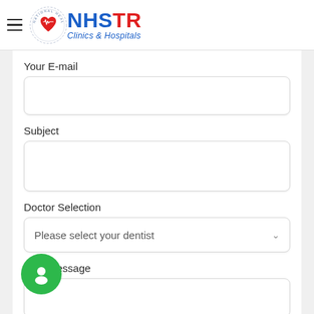[Figure (logo): NHSTR Clinics & Hospitals logo with circular badge showing heart and ECG line, plus hamburger menu icon]
Your E-mail
[Figure (other): Empty text input field for email]
Subject
[Figure (other): Empty text input field for subject]
Doctor Selection
[Figure (other): Dropdown select field with placeholder text 'Please select your dentist']
Your Message
[Figure (other): Empty textarea for message]
[Figure (other): Green circular chat/support button with white person icon at bottom left]